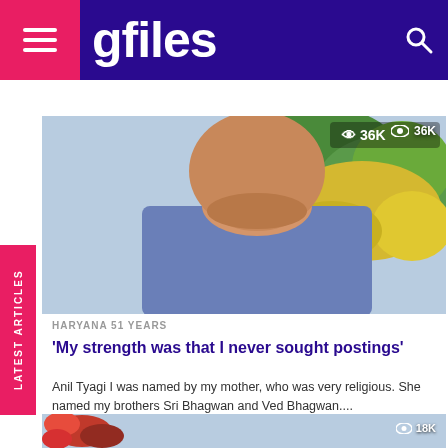gfiles
[Figure (photo): Portrait photo of an older Indian man in a blue shirt, outdoors with trees and yellow flowers in background. View count overlay: 36K]
LATEST ARTICLES
HARYANA 51 YEARS
'My strength was that I never sought postings'
Anil Tyagi I was named by my mother, who was very religious. She named my brothers Sri Bhagwan and Ved Bhagwan....
[Figure (photo): Partial view of a second article image at the bottom, with red flowers visible. View count overlay: 18K]